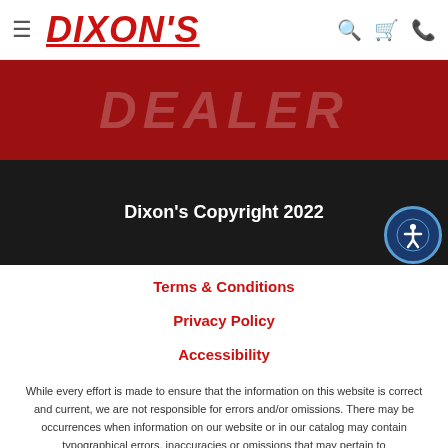DIXON'S
[Figure (screenshot): Red hero banner with white semi-transparent text partially visible]
Dixon's Copyright 2022
Terms & Conditions
Privacy Policy
Accessibility
While every effort is made to ensure that the information on this website is correct and current, we are not responsible for errors and/or omissions. There may be occurrences when information on our website or in our catalog may contain typographical errors, inaccuracies or omissions that may pertain to